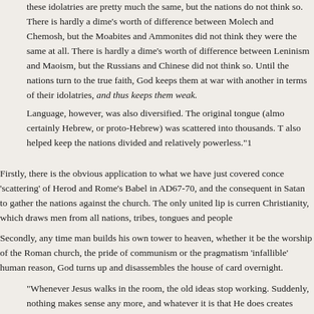these idolatries are pretty much the same, but the nations do not think so. There is hardly a dime's worth of difference between Molech and Chemosh, but the Moabites and Ammonites did not think they were the same at all. There is hardly a dime's worth of difference between Leninism and Maoism, but the Russians and Chinese did not think so. Until the nations turn to the true faith, God keeps them at war with another in terms of their idolatries, and thus keeps them weak.
Language, however, was also diversified. The original tongue (almost certainly Hebrew, or proto-Hebrew) was scattered into thousands. This also helped keep the nations divided and relatively powerless.“1
Firstly, there is the obvious application to what we have just covered concerning the ‘scattering’ of Herod and Rome’s Babel in AD67-70, and the consequent inability of Satan to gather the nations against the church. The only united lip is currently Christianity, which draws men from all nations, tribes, tongues and peoples.
Secondly, any time man builds his own tower to heaven, whether it be the Mary-worship of the Roman church, the pride of communism or the pragmatism of ‘infallible’ human reason, God turns up and disassembles the house of cards overnight.
“Whenever Jesus walks in the room, the old ideas stop working. Suddenly, nothing makes sense any more, and whatever it is that He does creates confusion. It is rather an update on the medicine man’s